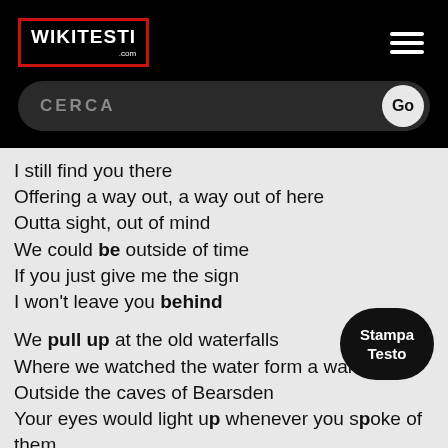WIKITESTI.com
CERCA
I still find you there
Offering a way out, a way out of here
Outta sight, out of mind
We could be outside of time
If you just give me the sign
I won't leave you behind
We pull up at the old waterfalls
Where we watched the water form a wal…
Outside the caves of Bearsden
Your eyes would light up whenever you spoke of them
I went out looking to try and find